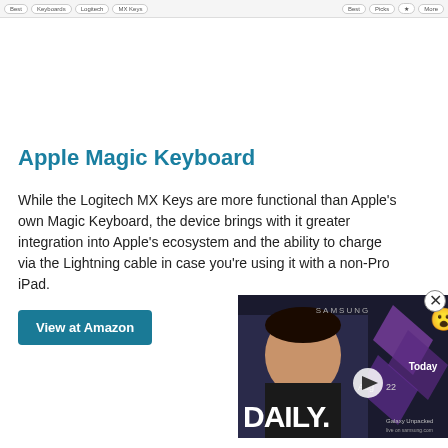[Navigation bar with tab buttons]
Apple Magic Keyboard
While the Logitech MX Keys are more functional than Apple's own Magic Keyboard, the device brings with it greater integration into Apple's ecosystem and the ability to charge via the Lightning cable in case you're using it with a non-Pro iPad.
View at Amazon
[Figure (screenshot): Samsung DAILY video overlay showing a man smiling with text 'DAILY.' and 'Today', 'Galaxy Unpacked' branding, purple diamond shapes, and a play button. Shows 'Aug 22' date.]